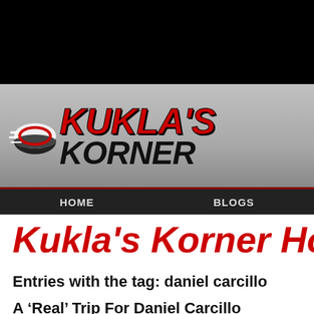[Figure (logo): Kukla's Korner hockey website logo with red puck icon and stylized red and black text]
HOME   BLOGS
Kukla's Korner Hocke
Entries with the tag: daniel carcillo
A ‘Real’ Trip For Daniel Carcillo